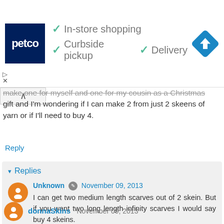[Figure (screenshot): Petco advertisement banner with logo, checkmarks for In-store shopping, Curbside pickup, Delivery, and a navigation icon]
make one for myself and one for my cousin as a Christmas gift and I'm wondering if I can make 2 from just 2 skeens of yarn or if I'll need to buy 4.
Reply
Replies
Unknown  November 09, 2013
I can get two medium length scarves out of 2 skein. But if you want two long length infinity scarves I would say buy 4 skeins.
Reply
donnaSkins  November 09, 2013